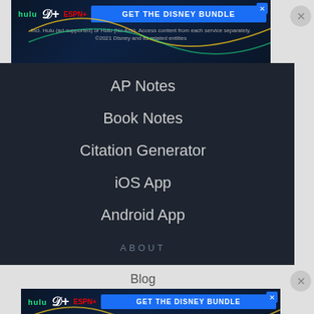[Figure (screenshot): Disney Bundle advertisement banner with Hulu, Disney+, ESPN+ logos and blue CTA button]
AP Notes
Book Notes
Citation Generator
iOS App
Android App
ABOUT
Company
Advertise
Jobs HIRING
Blog
[Figure (screenshot): Disney Bundle advertisement banner (second instance) with Hulu, Disney+, ESPN+ logos and blue CTA button]
Student Re...